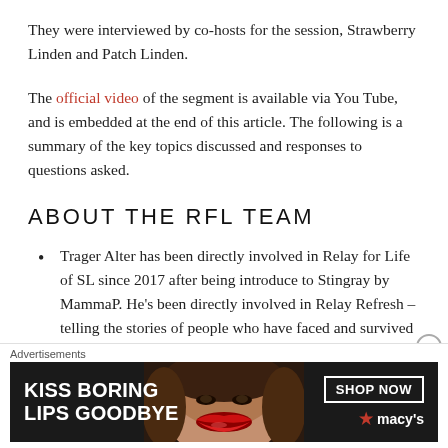They were interviewed by co-hosts for the session, Strawberry Linden and Patch Linden.
The official video of the segment is available via You Tube, and is embedded at the end of this article. The following is a summary of the key topics discussed and responses to questions asked.
ABOUT THE RFL TEAM
Trager Alter has been directly involved in Relay for Life of SL since 2017 after being introduce to Stingray by MammaP. He's been directly involved in Relay Refresh – telling the stories of people who have faced and survived cancer.
[Figure (infographic): Macy's advertisement banner: 'KISS BORING LIPS GOODBYE' with a photo of lips and a 'SHOP NOW' button with Macy's star logo on dark background.]